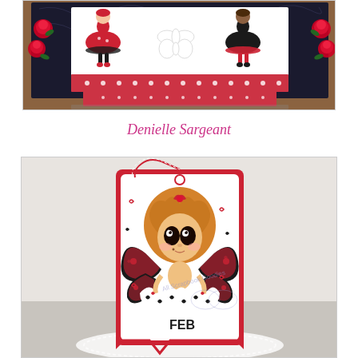[Figure (photo): Handmade Valentine's Day craft card with pop-up box structure. The card features illustrated girls in red and black dresses with polka dot and floral patterned paper. Red roses and ribbon embellishments decorate the corners. A white butterfly bow sits in the center.]
Denielle Sargeant
[Figure (photo): Handmade Valentine's Day gift tag featuring a big-eyed fairy/sprite character with red-heart shaped hair, red and black butterfly wings, wearing a ruffled skirt with heart decorations. Red and white baker's twine is threaded through the tag. Hearts are scattered around. Text reads 'FEB' at the bottom. Watermark reads 'All Scrapbook Goodies'.]